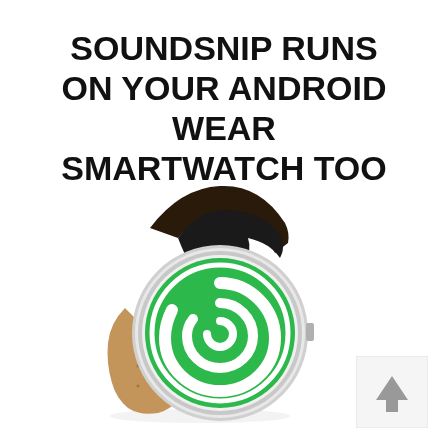SOUNDSNIP RUNS ON YOUR ANDROID WEAR SMARTWATCH TOO
[Figure (photo): An Android Wear smartwatch with a black leather strap and a round silver case, displaying a green SoundSnip logo (swirling white spiral on green background) on the watch face. The watch is shown at an angle on a white background, with a slight reflection below it.]
[Figure (other): A small square button with a light gray background and border, containing a dark gray upward-pointing arrow icon (scroll-to-top or navigation button).]